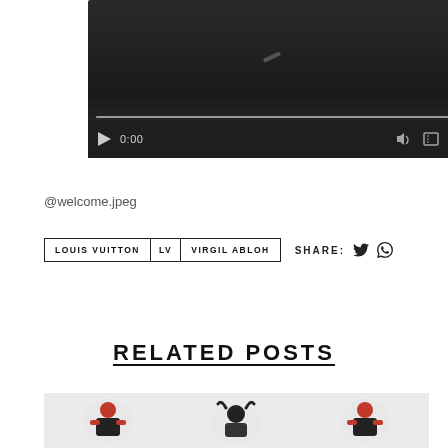[Figure (screenshot): Video player with dark background, play button, 0:00 timestamp, volume, fullscreen, and options icons, with a progress bar at the bottom]
@welcome.jpeg
LOUIS VUITTON
LV
VIRGIL ABLOH
SHARE:
RELATED POSTS
[Figure (photo): Three related post thumbnail images showing illustrated characters with red and black styling]